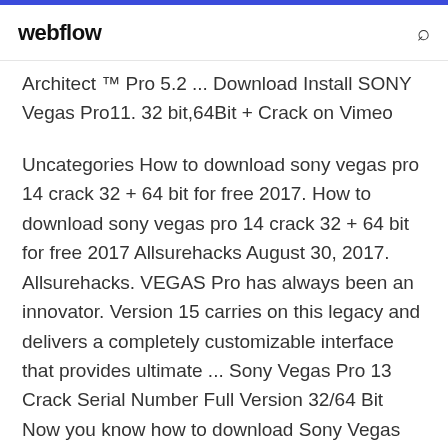webflow
Architect ™ Pro 5.2 ... Download Install SONY Vegas Pro11. 32 bit,64Bit + Crack on Vimeo
Uncategories How to download sony vegas pro 14 crack 32 + 64 bit for free 2017. How to download sony vegas pro 14 crack 32 + 64 bit for free 2017 Allsurehacks August 30, 2017. Allsurehacks. VEGAS Pro has always been an innovator. Version 15 carries on this legacy and delivers a completely customizable interface that provides ultimate ... Sony Vegas Pro 13 Crack Serial Number Full Version 32/64 Bit Now you know how to download Sony Vegas Pro 13 crack and activate the software without